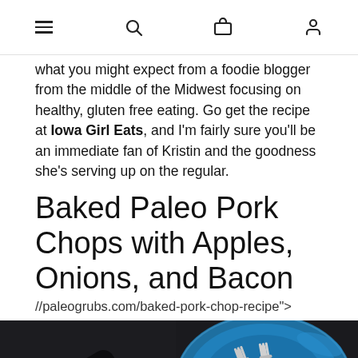[hamburger menu] [search] [cart] [account]
what you might expect from a foodie blogger from the middle of the Midwest focusing on healthy, gluten free eating. Go get the recipe at Iowa Girl Eats, and I'm fairly sure you'll be an immediate fan of Kristin and the goodness she's serving up on the regular.
Baked Paleo Pork Chops with Apples, Onions, and Bacon
//paleogrubs.com/baked-pork-chop-recipe">
[Figure (photo): Dark background with cast iron skillet handle on left and blue plate with two forks on right]